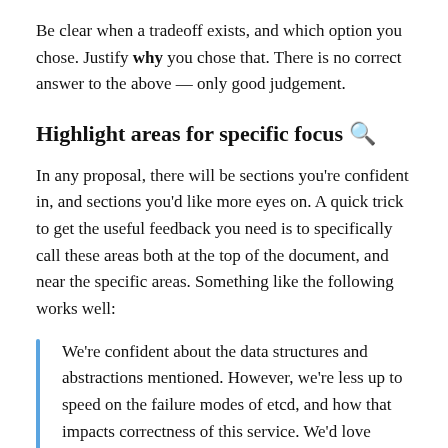Be clear when a tradeoff exists, and which option you chose. Justify why you chose that. There is no correct answer to the above — only good judgement.
Highlight areas for specific focus 🔍
In any proposal, there will be sections you're confident in, and sections you'd like more eyes on. A quick trick to get the useful feedback you need is to specifically call these areas both at the top of the document, and near the specific areas. Something like the following works well:
We're confident about the data structures and abstractions mentioned. However, we're less up to speed on the failure modes of etcd, and how that impacts correctness of this service. We'd love specific feedback on how to make the design more resilient